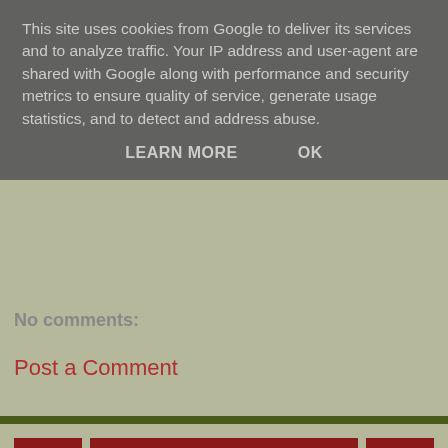This site uses cookies from Google to deliver its services and to analyze traffic. Your IP address and user-agent are shared with Google along with performance and security metrics to ensure quality of service, generate usage statistics, and to detect and address abuse.
LEARN MORE    OK
No comments:
Post a Comment
< Home >
View web version
ABOUT ME
Prayer4UKToday.co.uk
View my complete profile
Powered by Blogger.